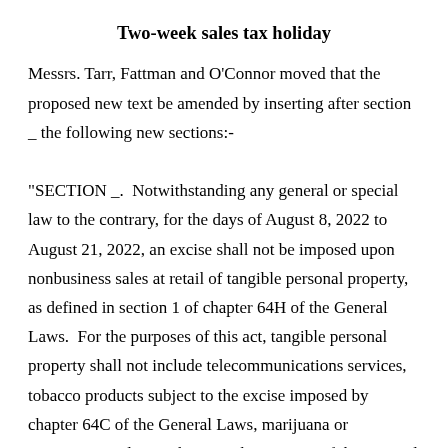Two-week sales tax holiday
Messrs. Tarr, Fattman and O'Connor moved that the proposed new text be amended by inserting after section _ the following new sections:-
"SECTION _.  Notwithstanding any general or special law to the contrary, for the days of August 8, 2022 to August 21, 2022, an excise shall not be imposed upon nonbusiness sales at retail of tangible personal property, as defined in section 1 of chapter 64H of the General Laws.  For the purposes of this act, tangible personal property shall not include telecommunications services, tobacco products subject to the excise imposed by chapter 64C of the General Laws, marijuana or marijuana products subject to chapter 94G of the General Laws, alcoholic beverages, as defined in section 1 of chapter 138 of the General Laws, gas, steam,